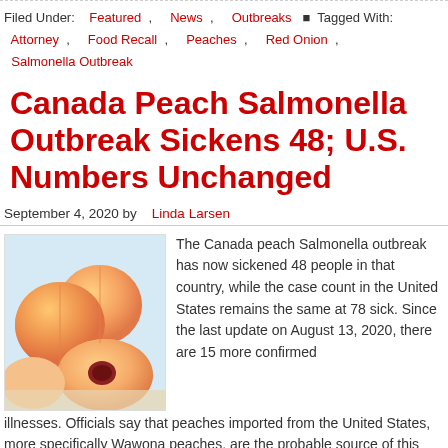Filed Under: Featured , News , Outbreaks ▪ Tagged With: Attorney , Food Recall , Peaches , Red Onion , Salmonella Outbreak
Canada Peach Salmonella Outbreak Sickens 48; U.S. Numbers Unchanged
September 4, 2020 by Linda Larsen
[Figure (photo): Close-up photo of fresh peaches, some whole and some cut in half showing the pit, warm peachy-orange tones with a soft background]
The Canada peach Salmonella outbreak has now sickened 48 people in that country, while the case count in the United States remains the same at 78 sick. Since the last update on August 13, 2020, there are 15 more confirmed illnesses. Officials say that peaches imported from the United States, more specifically Wawona peaches, are the probable source of this outbreak. The nations are wide open to accept the